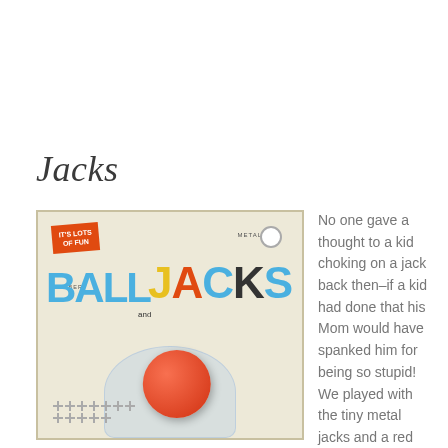Jacks
[Figure (photo): Vintage rubber ball and metal jacks toy set in original retail blister packaging. The package label reads 'IT'S LOTS OF FUN' on an orange tag, 'RUBBER BALL and JACKS' in colorful large letters (blue, yellow, orange, black, blue), and 'METAL' in small text. A red rubber ball and silver metal jacks are visible through the clear blister.]
No one gave a thought to a kid choking on a jack back then–if a kid had done that his Mom would have spanked him for being so stupid!  We played with the tiny metal jacks and a red ball.